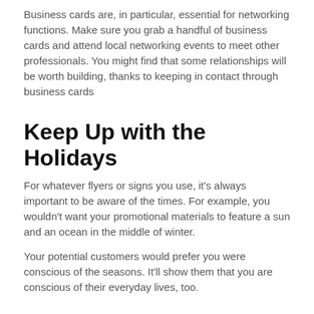Business cards are, in particular, essential for networking functions. Make sure you grab a handful of business cards and attend local networking events to meet other professionals. You might find that some relationships will be worth building, thanks to keeping in contact through business cards
Keep Up with the Holidays
For whatever flyers or signs you use, it's always important to be aware of the times. For example, you wouldn't want your promotional materials to feature a sun and an ocean in the middle of winter.
Your potential customers would prefer you were conscious of the seasons. It'll show them that you are conscious of their everyday lives, too.